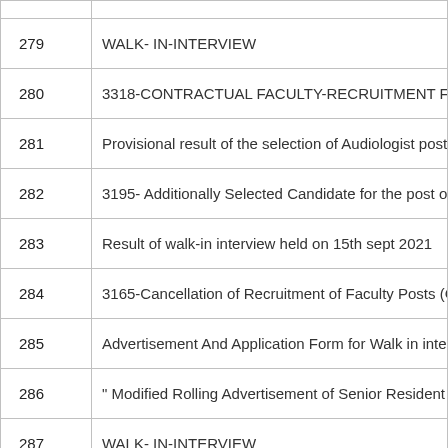| # | Description |
| --- | --- |
| 279 | WALK- IN-INTERVIEW |
| 280 | 3318-CONTRACTUAL FACULTY-RECRUITMENT FOR VARIOU |
| 281 | Provisional result of the selection of Audiologist post in ICMR Pr |
| 282 | 3195- Additionally Selected Candidate for the post of Senior Nu |
| 283 | Result of walk-in interview held on 15th sept 2021 |
| 284 | 3165-Cancellation of Recruitment of Faculty Posts (Group-A) in |
| 285 | Advertisement And Application Form for Walk in interview for Re |
| 286 | " Modified Rolling Advertisement of Senior Resident (Non-Acade |
| 287 | WALK- IN-INTERVIEW |
| 288 | 3048- Additionally Selected Candidate for the post of Nuclear Me |